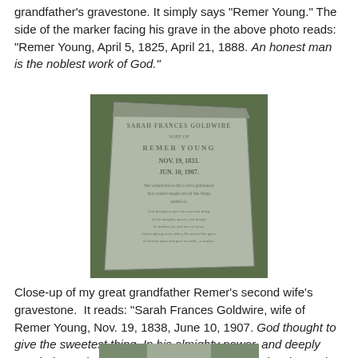grandfather's gravestone. It simply says "Remer Young." The side of the marker facing his grave in the above photo reads: "Remer Young, April 5, 1825, April 21, 1888. An honest man is the noblest work of God."
[Figure (photo): Close-up photograph of a gravestone lying flat on grass. The stone reads: SARAH FRANCES GOLDWIRE WIFE OF REMER YOUNG NOV. 19, 1833. JUN. 10, 1907. followed by an epitaph poem.]
Close-up of my great grandfather Remer's second wife's gravestone.  It reads: "Sarah Frances Goldwire, wife of Remer Young, Nov. 19, 1838, June 10, 1907. God thought to give the sweetest thing, In his almighty power, and deeply pondering, What it should be—one hour, In fondest joy and love of heart, Outweighing every other, He moved the gates of heaven apart and gave to earth—a mother."
[Figure (photo): Partial photo of another gravestone, cropped at bottom of page.]